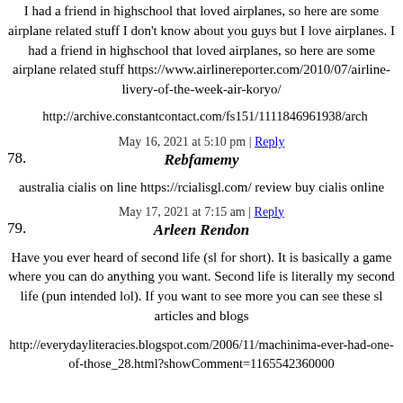I had a friend in highschool that loved airplanes, so here are some airplane related stuff I don't know about you guys but I love airplanes. I had a friend in highschool that loved airplanes, so here are some airplane related stuff https://www.airlinereporter.com/2010/07/airline-livery-of-the-week-air-koryo/
http://archive.constantcontact.com/fs151/1111846961938/arch
May 16, 2021 at 5:10 pm | Reply
78. Rebfamemy
australia cialis on line https://rcialisgl.com/ review buy cialis online
May 17, 2021 at 7:15 am | Reply
79. Arleen Rendon
Have you ever heard of second life (sl for short). It is basically a game where you can do anything you want. Second life is literally my second life (pun intended lol). If you want to see more you can see these sl articles and blogs
http://everydayliteracies.blogspot.com/2006/11/machinima-ever-had-one-of-those_28.html?showComment=1165542360000